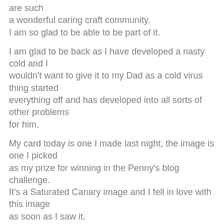are such a wonderful caring craft community. I am so glad to be able to be part of it.
I am glad to be back as I have developed a nasty cold and I wouldn't want to give it to my Dad as a cold virus thing started everything off and has developed into all sorts of other problems for him.
My card today is one I made last night, the image is one I picked as my prize for winning in the Penny's blog challenge. It's a Saturated Canary image and I fell in love with this image as soon as I saw it.
[Figure (photo): Bottom portion of a photograph, partially visible, showing a grey toned image strip.]